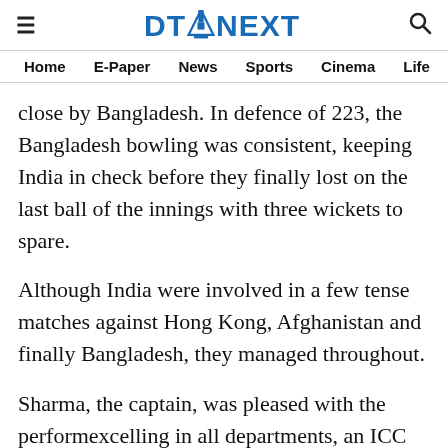DT NEXT — Home, E-Paper, News, Sports, Cinema, Life
close by Bangladesh. In defence of 223, the Bangladesh bowling was consistent, keeping India in check before they finally lost on the last ball of the innings with three wickets to spare.
Although India were involved in a few tense matches against Hong Kong, Afghanistan and finally Bangladesh, they managed to stay consistent throughout.
Sharma, the captain, was pleased with the performance of the side excelling in all departments, an ICC report on Saturday said.
"The spinners have performed consistently in the previous matches so that's a positive sign for us," he said after the game.